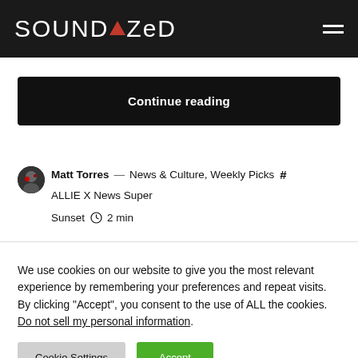SOUNDAZED
Continue reading
Matt Torres — News & Culture, Weekly Picks # ALLIE X News Super Sunset  2 min
We use cookies on our website to give you the most relevant experience by remembering your preferences and repeat visits. By clicking “Accept”, you consent to the use of ALL the cookies. Do not sell my personal information.
Cookie Settings  Accept